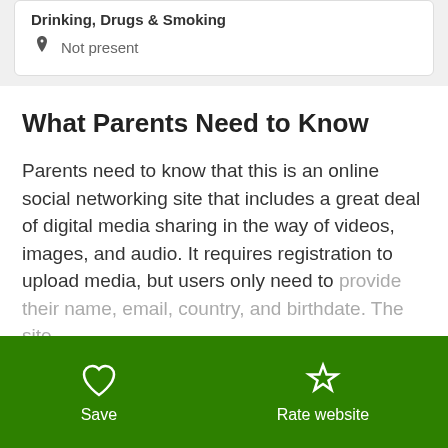Drinking, Drugs & Smoking
Not present
What Parents Need to Know
Parents need to know that this is an online social networking site that includes a great deal of digital media sharing in the way of videos, images, and audio. It requires registration to upload media, but users only need to provide their name, email, country, and birthdate. The site
Show more ∨
Community Reviews
Save
Rate website